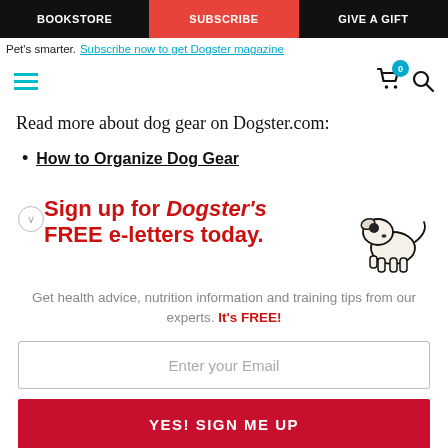BOOKSTORE | SUBSCRIBE | GIVE A GIFT
Pet's smarter. Subscribe now to get Dogster magazine
Read more about dog gear on Dogster.com:
How to Organize Dog Gear
[Figure (infographic): Dogster newsletter signup promotional box with illustrated dog cartoon and text: Sign up for Dogster's FREE e-letters today. Get health advice, nutrition information and training tips from our experts. It's FREE! With email input field and YES! SIGN ME UP button.]